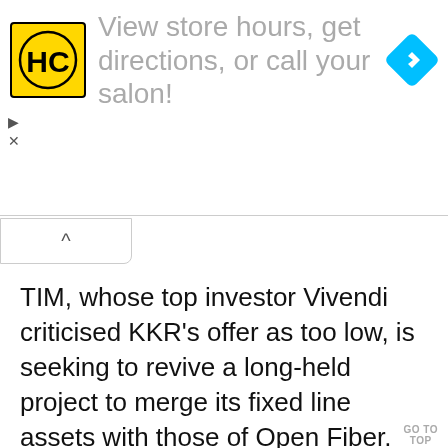[Figure (screenshot): Advertisement banner with HC (Hair Club) logo in yellow square, text reading 'View store hours, get directions, or call your salon!' and a blue navigation diamond icon. Below are play and close controls.]
[Figure (screenshot): Collapsed/expand button with upward chevron (^) inside a rounded rectangle tab.]
TIM, whose top investor Vivendi criticised KKR's offer as too low, is seeking to revive a long-held project to merge its fixed line assets with those of Open Fiber.
Such a move is supported by TIM's
GO TO TOP